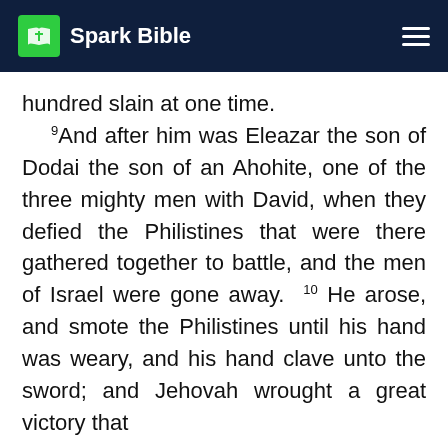Spark Bible
hundred slain at one time. 9And after him was Eleazar the son of Dodai the son of an Ahohite, one of the three mighty men with David, when they defied the Philistines that were there gathered together to battle, and the men of Israel were gone away. 10He arose, and smote the Philistines until his hand was weary, and his hand clave unto the sword; and Jehovah wrought a great victory that